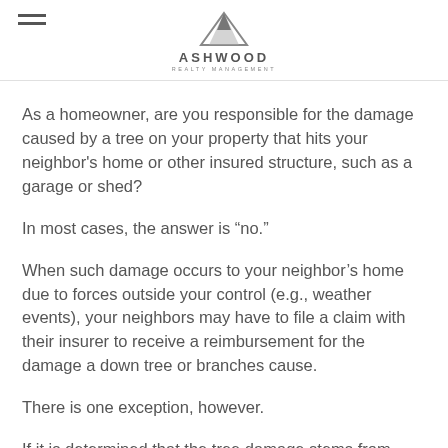ASHWOOD REALTY MANAGEMENT
As a homeowner, are you responsible for the damage caused by a tree on your property that hits your neighbor's home or other insured structure, such as a garage or shed?
In most cases, the answer is “no.”
When such damage occurs to your neighbor’s home due to forces outside your control (e.g., weather events), your neighbors may have to file a claim with their insurer to receive a reimbursement for the damage a down tree or branches cause.
There is one exception, however.
If it is determined that the tree damage stems from